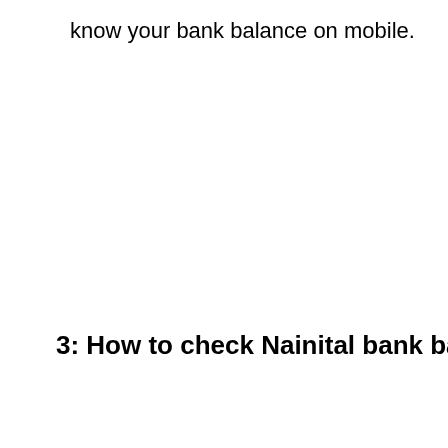know your bank balance on mobile.
3: How to check Nainital bank balance